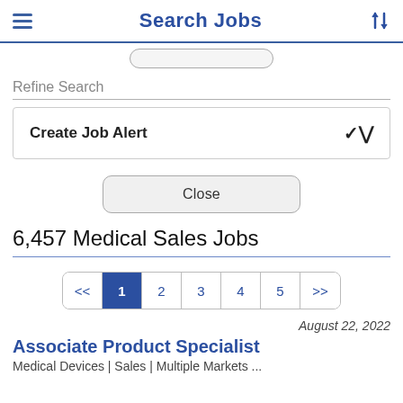Search Jobs
Refine Search
Create Job Alert
Close
6,457 Medical Sales Jobs
<< 1 2 3 4 5 >>
August 22, 2022
Associate Product Specialist
Medical Devices | Sales | Multiple Markets ...